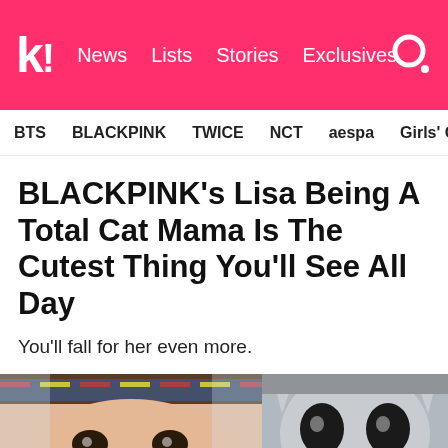k! News Lists Stories Exclusives
BTS BLACKPINK TWICE NCT aespa Girls' Generation
BLACKPINK's Lisa Being A Total Cat Mama Is The Cutest Thing You'll See All Day
You'll fall for her even more.
[Figure (photo): Close-up photo of BLACKPINK's Lisa smiling with her tongue out, wearing a patterned headband]
[Figure (photo): Close-up photo of a grey cat's face looking forward, being held by human hands]